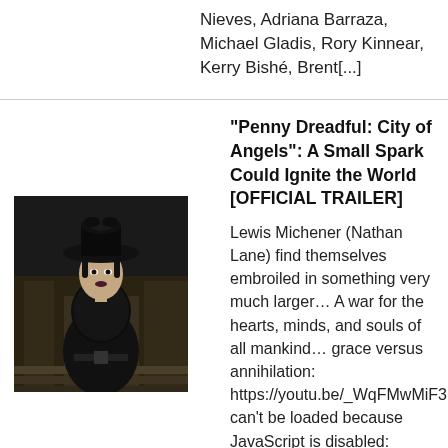Nieves, Adriana Barraza, Michael Gladis, Rory Kinnear, Kerry Bishé, Brent[...]
"Penny Dreadful: City of Angels": A Small Spark Could Ignite the World [OFFICIAL TRAILER]
[Figure (photo): A woman in dark Victorian-style clothing and a black hat, posed dramatically in a dark setting.]
Lewis Michener (Nathan Lane) find themselves embroiled in something very much larger… A war for the hearts, minds, and souls of all mankind… grace versus annihilation: https://youtu.be/_WqFMwMiF3lVid can't be loaded because JavaScript is disabled: Penny Dreadful: City of Angels (2020) Official Trailer | SHOWTIME (https://youtu.be/_WqFMwMiF3l)